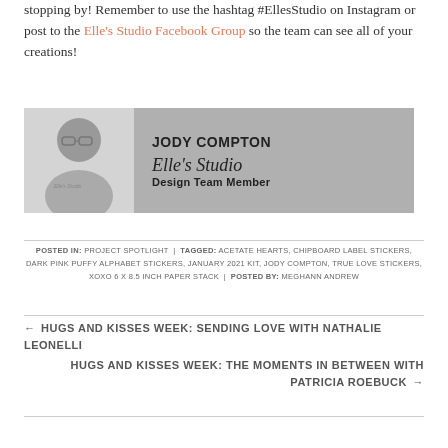stopping by! Remember to use the hashtag #EllesStudio on Instagram or post to the Elle's Studio Facebook Group so the team can see all of your creations!
[Figure (other): Author badge showing black-and-white photo of Jody Compton alongside name 'JODY COMPTON' and 'Elle's Studio Design Team Member' on a grey background]
POSTED IN: PROJECT SPOTLIGHT | TAGGED: ACETATE HEARTS, CHIPBOARD LABEL STICKERS, DARK PINK PUFFY ALPHABET STICKERS, JANUARY 2021 KIT, JODY COMPTON, TRUE LOVE STICKERS, XOXO 6 X 8.5 INCH PAPER STACK | POSTED BY: MEGHANN ANDREW
← HUGS AND KISSES WEEK: SENDING LOVE WITH NATHALIE LEONELLI
HUGS AND KISSES WEEK: THE MOMENTS IN BETWEEN WITH PATRICIA ROEBUCK →